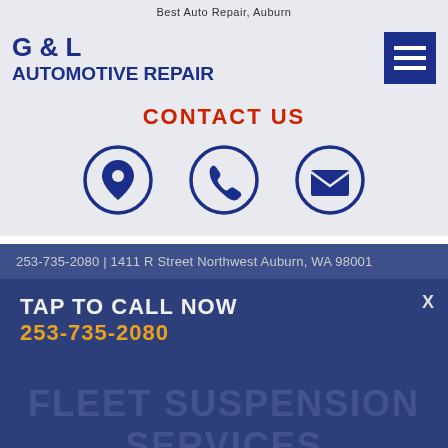Best Auto Repair, Auburn
G & L AUTOMOTIVE REPAIR
CONTACT US
[Figure (infographic): Three circular icons: location pin, phone handset, and envelope/email, each outlined in dark blue circle]
253-735-2080 | 1411 R Street Northwest Auburn, WA 98001
FLEET SUSPENSION SERVICES (watermark text)
TAP TO CALL NOW
253-735-2080